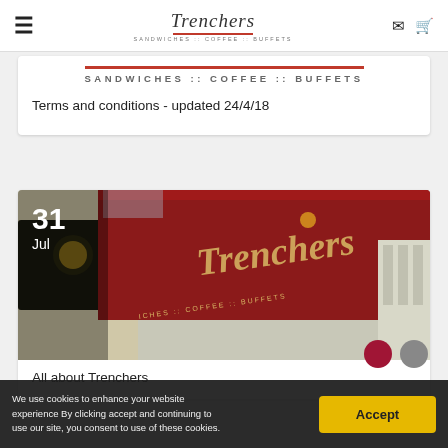Trenchers - Sandwiches :: Coffee :: Buffets
[Figure (logo): Trenchers logo with tagline SANDWICHES :: COFFEE :: BUFFETS and red underline bar]
Terms and conditions - updated 24/4/18
[Figure (photo): Trenchers storefront photo showing red signage with Trenchers branding and 'Sandwiches Coffee Buffets' text. Date overlay: 31 Jul]
All about Trenchers
We use cookies to enhance your website experience By clicking accept and continuing to use our site, you consent to use of these cookies.